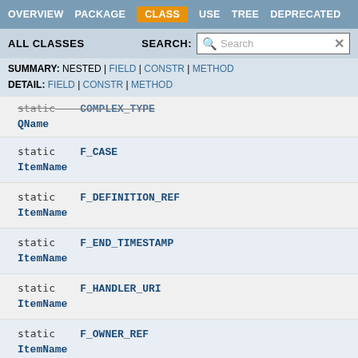OVERVIEW  PACKAGE  CLASS  USE  TREE  DEPRECATED
ALL CLASSES   SEARCH:
SUMMARY: NESTED | FIELD | CONSTR | METHOD
DETAIL: FIELD | CONSTR | METHOD
| static | COMPLEX_TYPE / QName |
| static | F_CASE / ItemName |
| static | F_DEFINITION_REF / ItemName |
| static | F_END_TIMESTAMP / ItemName |
| static | F_HANDLER_URI / ItemName |
| static | F_OWNER_REF / ItemName |
| static | F_REITERATION_DEFINITION / ItemName |